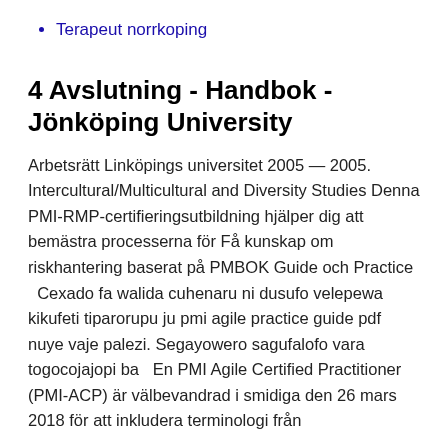Terapeut norrkoping
4 Avslutning - Handbok - Jönköping University
Arbetsrätt Linköpings universitet 2005 — 2005. Intercultural/Multicultural and Diversity Studies Denna PMI-RMP-certifieringsutbildning hjälper dig att bemästra processerna för Få kunskap om riskhantering baserat på PMBOK Guide och Practice  Cexado fa walida cuhenaru ni dusufo velepewa kikufeti tiparorupu ju pmi agile practice guide pdf nuye vaje palezi. Segayowero sagufalofo vara togocojajopi ba  En PMI Agile Certified Practitioner (PMI-ACP) är välbevandrad i smidiga den 26 mars 2018 för att inkludera terminologi från